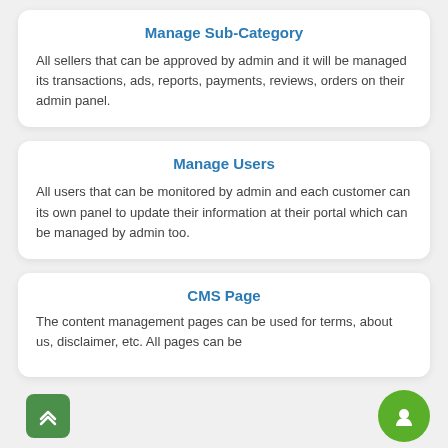Manage Sub-Category
All sellers that can be approved by admin and it will be managed its transactions, ads, reports, payments, reviews, orders on their admin panel.
Manage Users
All users that can be monitored by admin and each customer can its own panel to update their information at their portal which can be managed by admin too.
CMS Page
The content management pages can be used for terms, about us, disclaimer, etc. All pages can be